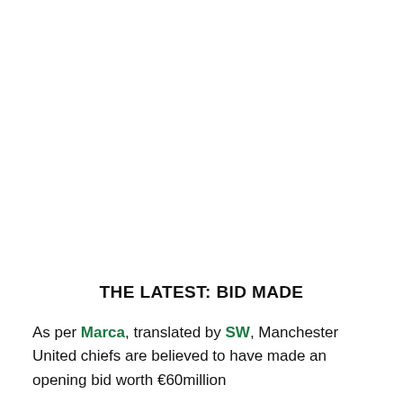THE LATEST: BID MADE
As per Marca, translated by SW, Manchester United chiefs are believed to have made an opening bid worth €60million